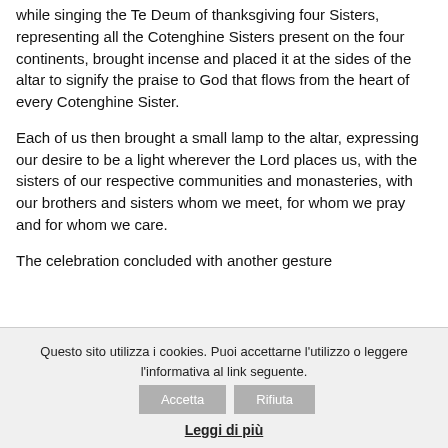while singing the Te Deum of thanksgiving four Sisters, representing all the Cotenghine Sisters present on the four continents, brought incense and placed it at the sides of the altar to signify the praise to God that flows from the heart of every Cotenghine Sister.
Each of us then brought a small lamp to the altar, expressing our desire to be a light wherever the Lord places us, with the sisters of our respective communities and monasteries, with our brothers and sisters whom we meet, for whom we pray and for whom we care.
The celebration concluded with another gesture
Questo sito utilizza i cookies. Puoi accettarne l'utilizzo o leggere l'informativa al link seguente.
Leggi di più